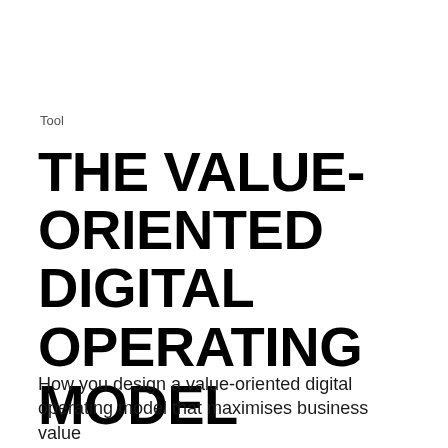Tool
THE VALUE-ORIENTED DIGITAL OPERATING MODEL
How you design a value-oriented digital operating model that maximises business value